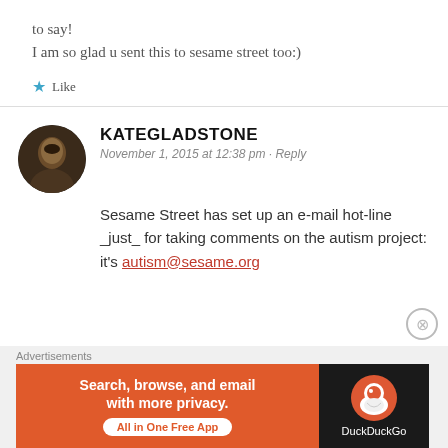to say!
I am so glad u sent this to sesame street too:)
★ Like
KATEGLADSTONE
November 1, 2015 at 12:38 pm · Reply
Sesame Street has set up an e-mail hot-line _just_ for taking comments on the autism project: it's autism@sesame.org
Advertisements
[Figure (screenshot): DuckDuckGo advertisement banner: Search, browse, and email with more privacy. All in One Free App.]